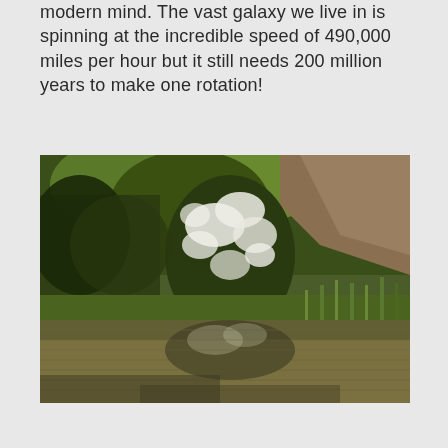modern mind. The vast galaxy we live in is spinning at the incredible speed of 490,000 miles per hour but it still needs 200 million years to make one rotation!
[Figure (photo): Photograph of a riverbank scene with dense green trees and bushes bearing white blossoms, green reeds and grasses along the water's edge, and their reflections in the calm brownish water below.]